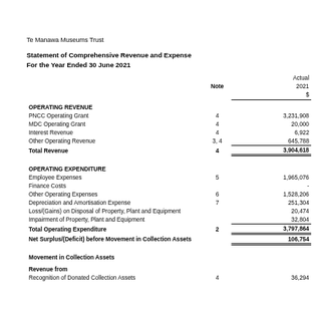Te Manawa Museums Trust
Statement of Comprehensive Revenue and Expense
For the Year Ended 30 June 2021
|  | Note | Actual 2021 $ |
| --- | --- | --- |
| OPERATING REVENUE |  |  |
| PNCC Operating Grant | 4 | 3,231,908 |
| MDC Operating Grant | 4 | 20,000 |
| Interest Revenue | 4 | 6,922 |
| Other Operating Revenue | 3, 4 | 645,788 |
| Total Revenue | 4 | 3,904,618 |
| OPERATING EXPENDITURE |  |  |
| Employee Expenses | 5 | 1,965,076 |
| Finance Costs |  | - |
| Other Operating Expenses | 6 | 1,528,206 |
| Depreciation and Amortisation Expense | 7 | 251,304 |
| Loss/(Gains) on Disposal of Property, Plant and Equipment |  | 20,474 |
| Impairment of Property, Plant and Equipment |  | 32,804 |
| Total Operating Expenditure | 2 | 3,797,864 |
| Net Surplus/(Deficit) before Movement in Collection Assets |  | 106,754 |
| Movement in Collection Assets |  |  |
| Revenue from |  |  |
| Recognition of Donated Collection Assets | 4 | 36,294 |